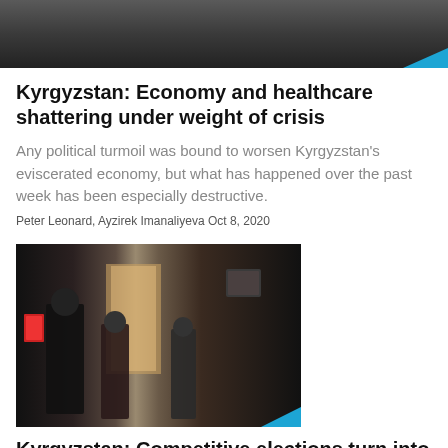[Figure (photo): Cropped top of a dark indoor scene, partial view of person's feet/legs]
Kyrgyzstan: Economy and healthcare shattering under weight of crisis
Any political turmoil was bound to worsen Kyrgyzstan's eviscerated economy, but what has happened over the past week has been especially destructive.
Peter Leonard, Ayzirek Imanaliyeva Oct 8, 2020
[Figure (photo): People in masks standing in a hallway, resembling a hospital or government building corridor scene in Kyrgyzstan]
Kyrgyzstan: Competitive elections turn into